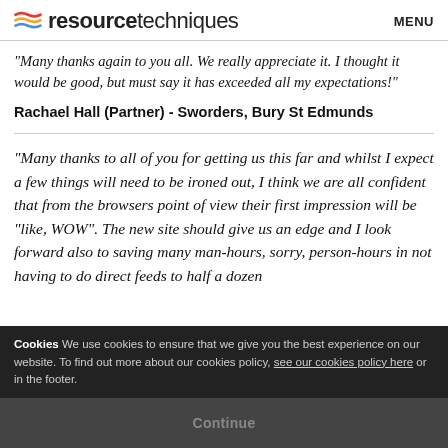resource techniques | MENU
“Many thanks again to you all. We really appreciate it. I thought it would be good, but must say it has exceeded all my expectations!”
Rachael Hall (Partner) - Sworders, Bury St Edmunds
“Many thanks to all of you for getting us this far and whilst I expect a few things will need to be ironed out, I think we are all confident that from the browsers point of view their first impression will be “like, WOW”. The new site should give us an edge and I look forward also to saving many man-hours, sorry, person-hours in not having to do direct feeds to half a dozen
Cookies We use cookies to ensure that we give you the best experience on our website. To find out more about our cookies policy, see our cookies policy here or in the footer.
Continue